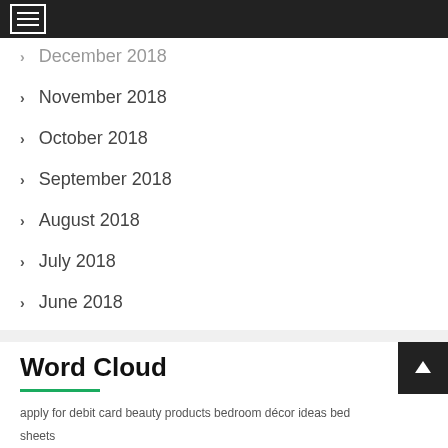December 2018
November 2018
October 2018
September 2018
August 2018
July 2018
June 2018
Word Cloud
apply for debit card beauty products bedroom décor ideas bed sheets bedsheets online BNPL bus tickets online buy diamond bracelets